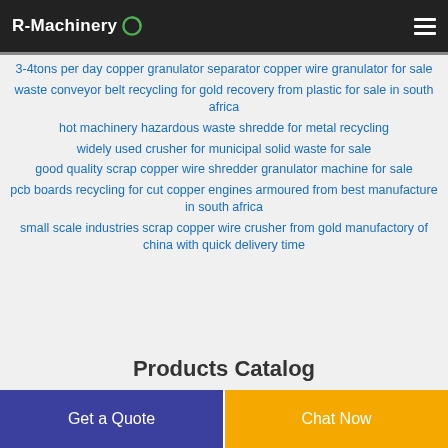R-Machinery
3-4tons per day copper granulator separator copper wire granulator for sale
waste conveyor belt recycling for gold recovery from plastic for sale in south africa
hot machinery hazardous waste shredde for metal recycling
widely used crusher for municipal solid waste for sale
good quality scrap copper wire shredder granulator machine for sale
pcb boards recycling for cut copper engines armoured from best manufacture in south africa
small scale industries scrap copper wire crusher from gold manufactory of china with quick delivery time
Products Catalog
Get a Quote
Chat Now